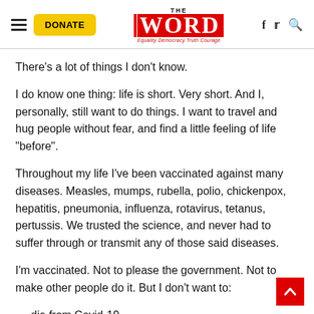THE WORD — Equality Democracy Truth Courage
There’s a lot of things I don’t know.
I do know one thing: life is short. Very short. And I, personally, still want to do things. I want to travel and hug people without fear, and find a little feeling of life “before”.
Throughout my life I’ve been vaccinated against many diseases. Measles, mumps, rubella, polio, chickenpox, hepatitis, pneumonia, influenza, rotavirus, tetanus, pertussis. We trusted the science, and never had to suffer through or transmit any of those said diseases.
I’m vaccinated. Not to please the government. Not to make other people do it. But I don’t want to:
die from Covid-19